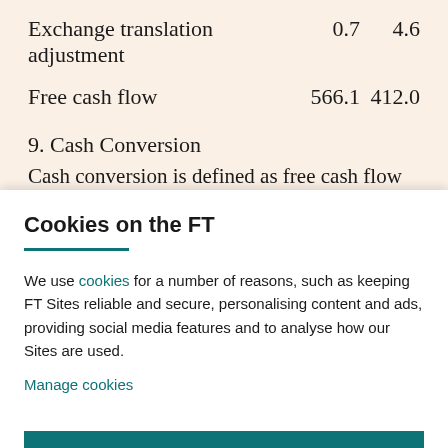| Exchange translation adjustment | 0.7 | 4.6 |
| Free cash flow | 566.1 | 412.0 |
9. Cash Conversion
Cash conversion is defined as free cash flow expressed a
Cookies on the FT
We use cookies for a number of reasons, such as keeping FT Sites reliable and secure, personalising content and ads, providing social media features and to analyse how our Sites are used.
Manage cookies
Accept & continue